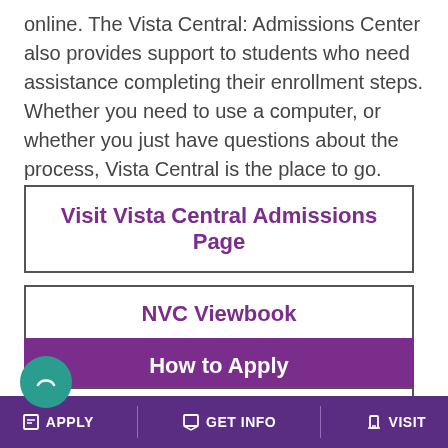online. The Vista Central: Admissions Center also provides support to students who need assistance completing their enrollment steps. Whether you need to use a computer, or whether you just have questions about the process, Vista Central is the place to go.
Visit Vista Central Admissions Page
NVC Viewbook
How to Apply
Dynamic Schedule
APPLY  GET INFO  VISIT